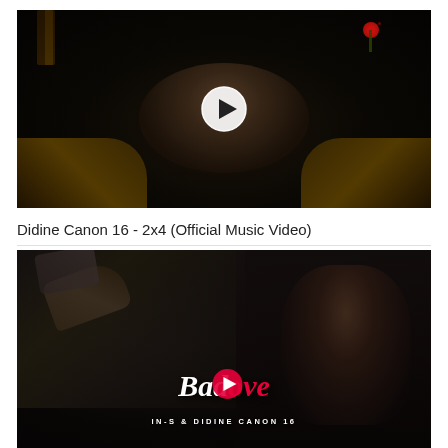[Figure (screenshot): Music video thumbnail for 'Didine Canon 16 - 2x4 (Official Music Video)' showing a dark scene with a person in a chair, guitar neck visible top left, red rose top right, golden chair arms, and a white circular play button overlay in the center.]
Didine Canon 16 - 2x4 (Official Music Video)
[Figure (screenshot): Music video thumbnail showing 'Bad Love' by IN-S & Didine Canon 16. Dark scene with a hand reaching out on the left, a girl on the right, and 'Bad Love' logo text in white and red in the center with a play button, and 'IN-S & DIDINE CANON 16' credit text below.]